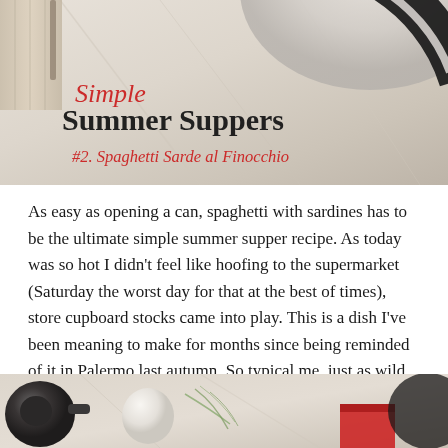[Figure (photo): Top photograph showing a marble surface with a black bowl/plate edge visible, fabric napkin, and overlaid recipe series title text reading 'Simple Summer Suppers #2. Spaghetti Sarde al Finocchio']
Simple Summer Suppers #2. Spaghetti Sarde al Finocchio
As easy as opening a can, spaghetti with sardines has to be the ultimate simple summer supper recipe. As today was so hot I didn't feel like hoofing to the supermarket (Saturday the worst day for that at the best of times), store cupboard stocks came into play. This is a dish I've been meaning to make for months since being reminded of it in Palermo last autumn. So typical me, just as wild fennel is drying up and hibernating on the waysides, I decide to fling it in to a pasta. Seeds alone will do though if you can't find fennel fronds.
[Figure (photo): Bottom partial photograph showing a marble surface with a dark can opener, white egg or onion, fennel fronds, and a red label/tin partially visible]